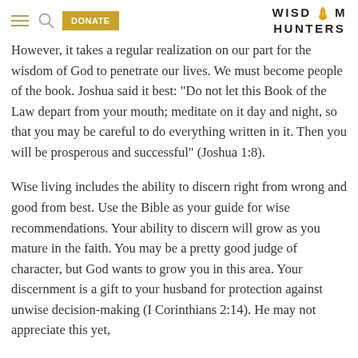WISDOM HUNTERS [with DONATE button and nav icons]
However, it takes a regular realization on our part for the wisdom of God to penetrate our lives. We must become people of the book. Joshua said it best: “Do not let this Book of the Law depart from your mouth; meditate on it day and night, so that you may be careful to do everything written in it. Then you will be prosperous and successful” (Joshua 1:8).
Wise living includes the ability to discern right from wrong and good from best. Use the Bible as your guide for wise recommendations. Your ability to discern will grow as you mature in the faith. You may be a pretty good judge of character, but God wants to grow you in this area. Your discernment is a gift to your husband for protection against unwise decision-making (I Corinthians 2:14). He may not appreciate this yet,